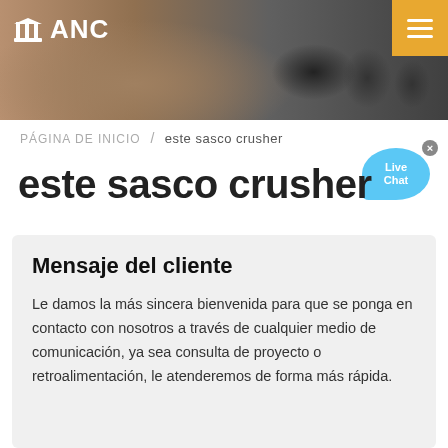ANC
[Figure (photo): Blurred background photo of a workshop/factory floor with microphones in the foreground]
PÁGINA DE INICIO / este sasco crusher
[Figure (other): Live Chat bubble widget]
este sasco crusher
Mensaje del cliente
Le damos la más sincera bienvenida para que se ponga en contacto con nosotros a través de cualquier medio de comunicación, ya sea consulta de proyecto o retroalimentación, le atenderemos de forma más rápida.